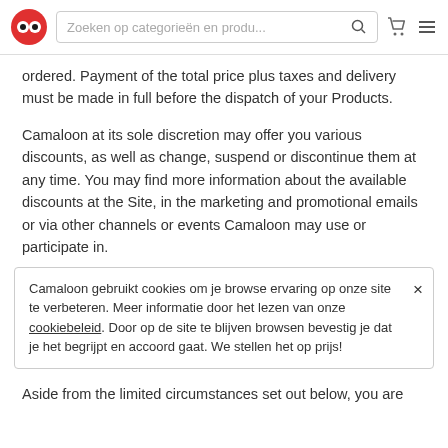Zoeken op categorieën en produ... [search icon] [cart icon] [menu icon]
ordered. Payment of the total price plus taxes and delivery must be made in full before the dispatch of your Products.
Camaloon at its sole discretion may offer you various discounts, as well as change, suspend or discontinue them at any time. You may find more information about the available discounts at the Site, in the marketing and promotional emails or via other channels or events Camaloon may use or participate in.
Camaloon gebruikt cookies om je browse ervaring op onze site te verbeteren. Meer informatie door het lezen van onze cookiebeleid. Door op de site te blijven browsen bevestig je dat je het begrijpt en accoord gaat. We stellen het op prijs!
Aside from the limited circumstances set out below, you are